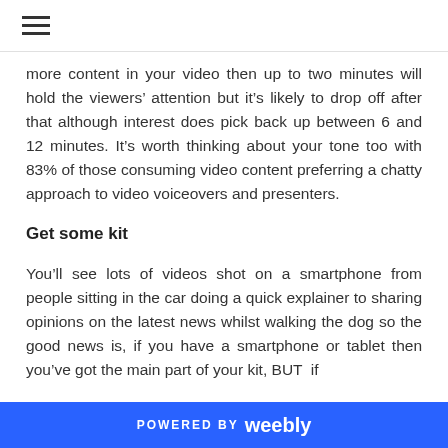more content in your video then up to two minutes will hold the viewers’ attention but it’s likely to drop off after that although interest does pick back up between 6 and 12 minutes. It’s worth thinking about your tone too with 83% of those consuming video content preferring a chatty approach to video voiceovers and presenters.
Get some kit
You’ll see lots of videos shot on a smartphone from people sitting in the car doing a quick explainer to sharing opinions on the latest news whilst walking the dog so the good news is, if you have a smartphone or tablet then you’ve got the main part of your kit, BUT if
POWERED BY weebly